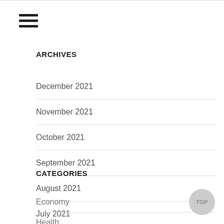[Figure (other): Hamburger menu icon with three horizontal lines]
ARCHIVES
December 2021
November 2021
October 2021
September 2021
August 2021
July 2021
June 2021
CATEGORIES
Economy
Health